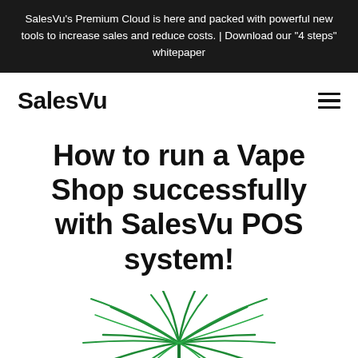SalesVu's Premium Cloud is here and packed with powerful new tools to increase sales and reduce costs. | Download our "4 steps" whitepaper
SalesVu
How to run a Vape Shop successfully with SalesVu POS system!
[Figure (illustration): Green palm tree / tropical plant illustration at the bottom of the page]